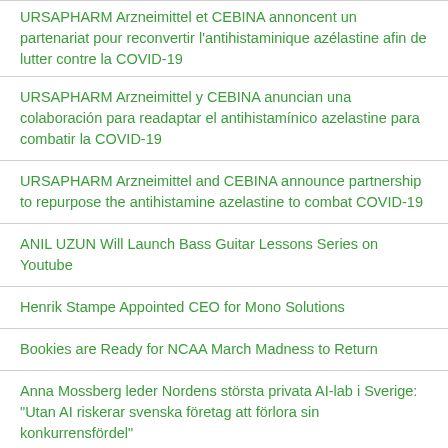URSAPHARM Arzneimittel et CEBINA annoncent un partenariat pour reconvertir l'antihistaminique azélastine afin de lutter contre la COVID-19
URSAPHARM Arzneimittel y CEBINA anuncian una colaboración para readaptar el antihistamínico azelastine para combatir la COVID-19
URSAPHARM Arzneimittel and CEBINA announce partnership to repurpose the antihistamine azelastine to combat COVID-19
ANIL UZUN Will Launch Bass Guitar Lessons Series on Youtube
Henrik Stampe Appointed CEO for Mono Solutions
Bookies are Ready for NCAA March Madness to Return
Anna Mossberg leder Nordens största privata AI-lab i Sverige: "Utan AI riskerar svenska företag att förlora sin konkurrensfördel"